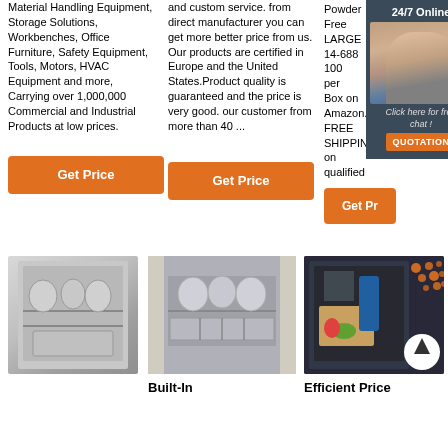Material Handling Equipment, Storage Solutions, Workbenches, Office Furniture, Safety Equipment, Tools, Motors, HVAC Equipment and more, Carrying over 1,000,000 Commercial and Industrial Products at low prices.
and custom service. from direct manufacturer you can get more better price from us. Our products are certified in Europe and the United States.Product quality is guaranteed and the price is very good. our customer from more than 40 ...
Powder Free LARGE 14-688 100 per Box on Amazon.com FREE SHIPPING on qualified
[Figure (infographic): Chat widget with 24/7 Online label, photo of woman with headset, Click here for free chat! text, and QUOTATION button]
Get Price
Get Price
Get Pr
[Figure (photo): Open dishwasher with dishes inside, metallic interior view from above]
[Figure (photo): Built-in dishwasher with dishes inside, front open view]
[Figure (photo): Efficient Price dishwasher product image with orange decoration dots and circular up-arrow badge]
Built-In
Efficient Price